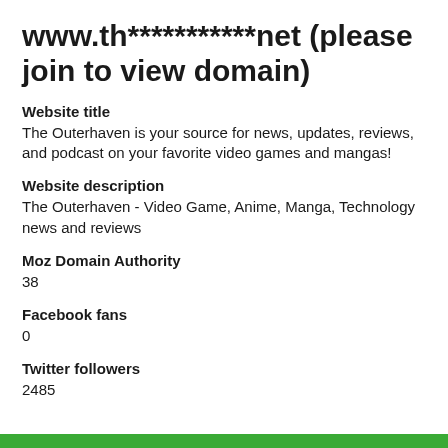www.th***********net (please join to view domain)
Website title
The Outerhaven is your source for news, updates, reviews, and podcast on your favorite video games and mangas!
Website description
The Outerhaven - Video Game, Anime, Manga, Technology news and reviews
Moz Domain Authority
38
Facebook fans
0
Twitter followers
2485